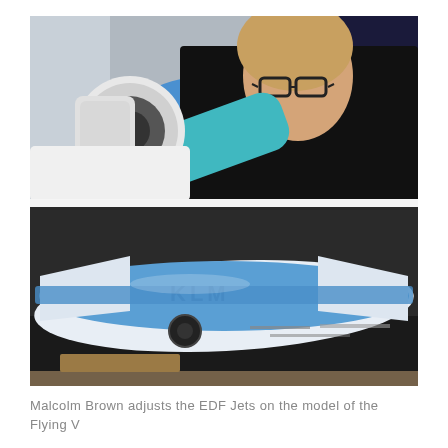[Figure (photo): Two-panel photo composition. Top panel: A young man with short blond hair and black-rimmed glasses, wearing a black top and blue gloves, leans forward closely examining or adjusting a white cylindrical EDF (electric ducted fan) jet engine attached to a blue model aircraft. The background shows an industrial workspace. Bottom panel: A close-up view of the blue and white scale model of the Flying V aircraft sitting on a dark worktable, with 'KLM' lettering visible on the fuselage. Small wheels and assembly tools are visible on the table surface.]
Malcolm Brown adjusts the EDF Jets on the model of the Flying V